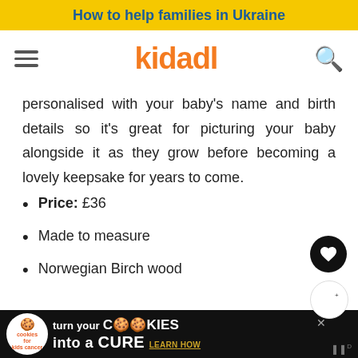How to help families in Ukraine
[Figure (logo): Kidadl website header with hamburger menu, kidadl logo in orange, and search icon]
personalised with your baby's name and birth details so it's great for picturing your baby alongside it as they grow before becoming a lovely keepsake for years to come.
Price: £36
Made to measure
Norwegian Birch wood
[Figure (infographic): Advertisement banner: cookies for kids cancer - turn your cookies into a CURE LEARN HOW]